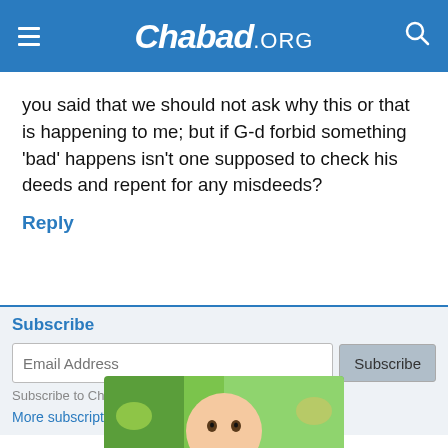Chabad.ORG
you said that we should not ask why this or that is happening to me; but if G-d forbid something 'bad' happens isn't one supposed to check his deeds and repent for any misdeeds?
Reply
Subscribe
Email Address
Subscribe to Chabad.org Video
More subscription options »
[Figure (photo): Cropped photo of a child's face with painted hands in a colorful background]